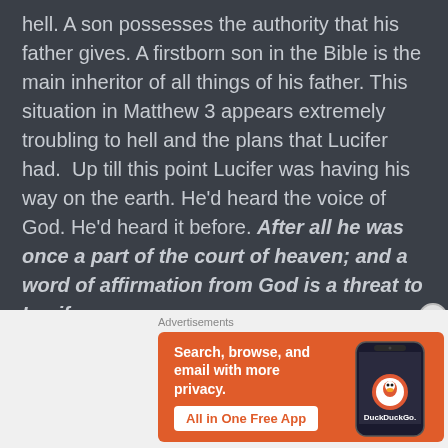hell. A son possesses the authority that his father gives. A firstborn son in the Bible is the main inheritor of all things of his father. This situation in Matthew 3 appears extremely troubling to hell and the plans that Lucifer had.  Up till this point Lucifer was having his way on the earth. He'd heard the voice of God. He'd heard it before. After all he was once a part of the court of heaven; and a word of affirmation from God is a threat to Lucifer.
[Figure (screenshot): DuckDuckGo advertisement banner with orange background. Text reads 'Search, browse, and email with more privacy.' with a 'All in One Free App' button. Right side shows a smartphone with DuckDuckGo logo.]